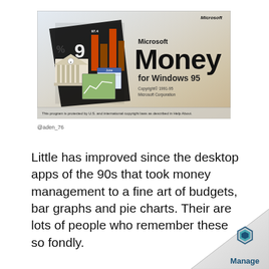[Figure (screenshot): Microsoft Money for Windows 95 splash screen showing the product logo with a bank building icon, bar chart, and calendar graphics on the left, 'Microsoft Money for Windows 95' text on the right, copyright 1991-95 Microsoft Corporation, and a protection notice at the bottom.]
@aden_76
Little has improved since the desktop apps of the 90s that took money management to a fine art of budgets, bar graphs and pie charts. Their are lots of people who remember these so fondly.
[Figure (logo): Manage brand logo with hexagon icon in blue and teal, with 'Manage' text below, on a page-curl corner decoration.]